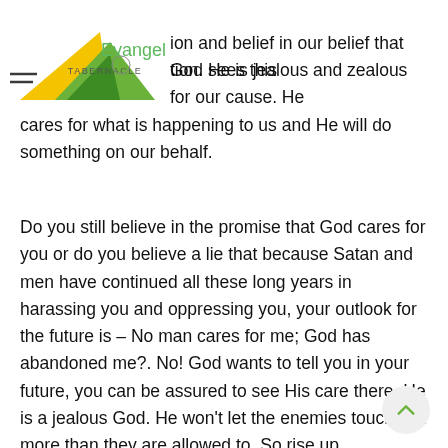[Figure (logo): Evangel Tabernacle logo with yellow and green triangular bird/mountain shape and text 'Evangel' in green and 'TABERNACLE' below]
ion and belief in our belief that God sees this tion. He is jealous and zealous for our cause. He cares for what is happening to us and He will do something on our behalf.
Do you still believe in the promise that God cares for you or do you believe a lie that because Satan and men have continued all these long years in harassing you and oppressing you, your outlook for the future is – No man cares for me; God has abandoned me?. No! God wants to tell you in your future, you can be assured to see His care there. He is a jealous God. He won't let the enemies touch you more than they are allowed to. So rise up.